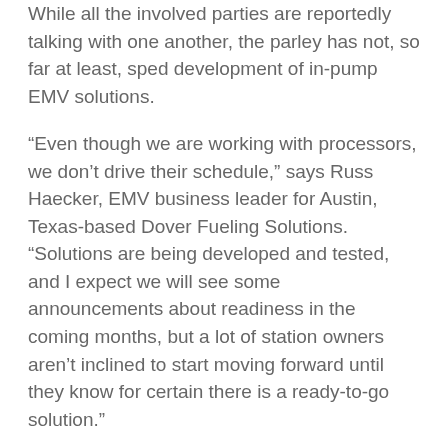While all the involved parties are reportedly talking with one another, the parley has not, so far at least, sped development of in-pump EMV solutions.
“Even though we are working with processors, we don’t drive their schedule,” says Russ Haecker, EMV business leader for Austin, Texas-based Dover Fueling Solutions. “Solutions are being developed and tested, and I expect we will see some announcements about readiness in the coming months, but a lot of station owners aren’t inclined to start moving forward until they know for certain there is a ready-to-go solution.”